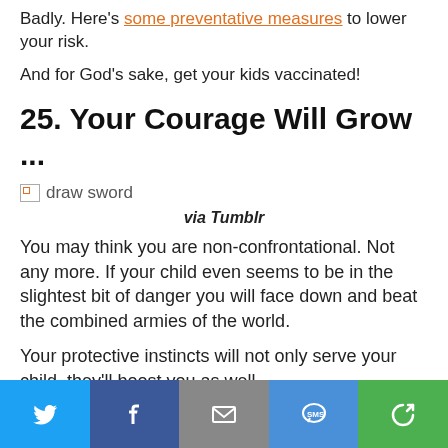Badly. Here's some preventative measures to lower your risk.
And for God's sake, get your kids vaccinated!
25. Your Courage Will Grow ...
[Figure (photo): Broken image placeholder with alt text 'draw sword']
via Tumblr
You may think you are non-confrontational. Not any more. If your child even seems to be in the slightest bit of danger you will face down and beat the combined armies of the world.
Your protective instincts will not only serve your child, they'll boost you as well.
[Figure (infographic): Social share bar with Twitter, Facebook, Email, SMS, and share buttons]